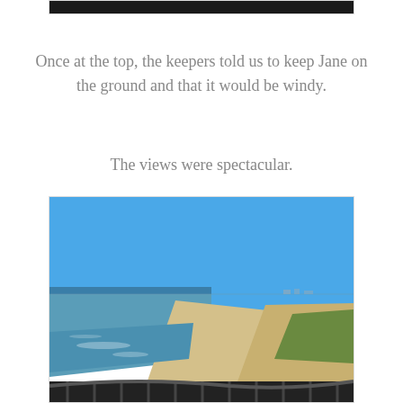[Figure (photo): Top edge of a photo, showing a dark/black bar at the top — partial view of a previous image]
Once at the top, the keepers told us to keep Jane on the ground and that it would be windy.
The views were spectacular.
[Figure (photo): Aerial view from the top of a lighthouse showing a sandy beach curving along blue-green water under a clear blue sky, with dunes and vegetation to the right, and a dark metal railing visible at the bottom of the frame.]